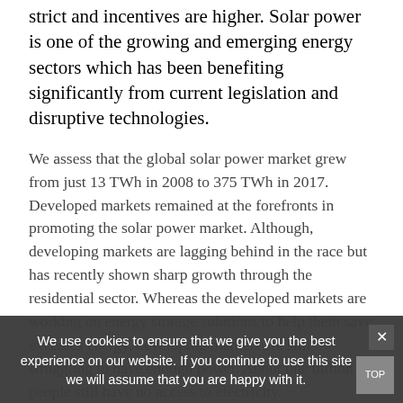strict and incentives are higher. Solar power is one of the growing and emerging energy sectors which has been benefiting significantly from current legislation and disruptive technologies.
We assess that the global solar power market grew from just 13 TWh in 2008 to 375 TWh in 2017. Developed markets remained at the forefronts in promoting the solar power market. Although, developing markets are lagging behind in the race but has recently shown sharp growth through the residential sector. Whereas the developed markets are working on energy storage solutions to help them save excesses energy, developing markets are still struggling to have enough power. About one billion people still have no access to electricity.
The rise of off-grid solar technology has become an important Solar Home Systems (SHS) is supporting in filling the electrification gap in developing markets. SHS will revolutionize the energy sector in developing countries.
We use cookies to ensure that we give you the best experience on our website. If you continue to use this site we will assume that you are happy with it.